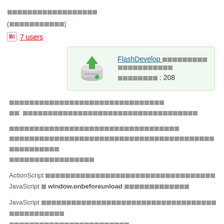□□□□□□□□□□□□□□□□□□ (FlashDevelop related Japanese title)
(□□□□□□□□□□□)
B! 7 users
[Figure (screenshot): Card with download icon and FlashDevelop link, download count: 208]
□□□□□□□□□□□□□□□□□□□□□□□□□□□□□□ □□: □□□□□□□□□□□□□□□□□□□□□□□□□□□□□□□□□□□□
□□□□□□□□□□□□□□□□□□□□□□□□□□□□□□□□ □□□□□□□□□□□□□□□□□□□□□□□□□□□□□□□□□□□□□□□□□□□□□□□□□□ □□□□□□□□□□□□□□□□
ActionScript □□□□□□□□□□□□□□□□□□□□□□□□□□□□□□□□□□□□□□ JavaScript □ window.onbeforeunload □□□□□□□□□□□□□
JavaScript □□□□□□□□□□□□□□□□□□□□□□□□□□□□□□□□□□□□□□□□□□□□□□ □□□□□□□□□□□□□□□□□□□□□□□□